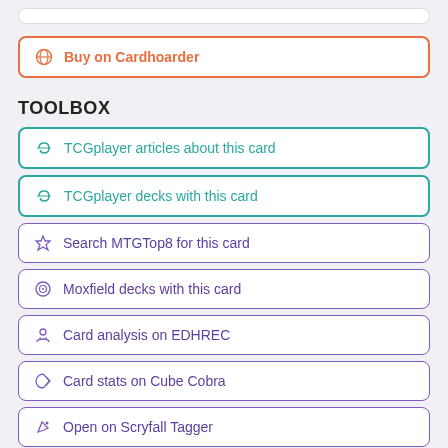Buy on Cardhoarder
TOOLBOX
TCGplayer articles about this card
TCGplayer decks with this card
Search MTGTop8 for this card
Moxfield decks with this card
Card analysis on EDHREC
Card stats on Cube Cobra
Open on Scryfall Tagger
IMAGES AND DATA
Download PNG image (0.83 MB)
Download art crop (40.2 KB)
Copy-pasteable text